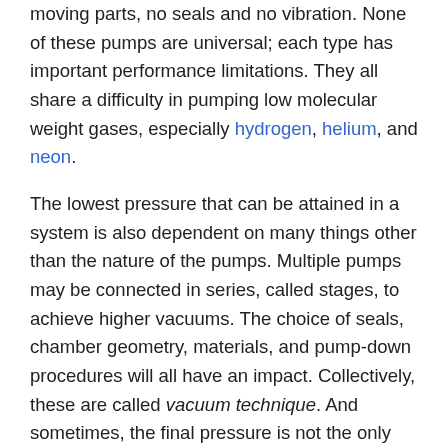moving parts, no seals and no vibration. None of these pumps are universal; each type has important performance limitations. They all share a difficulty in pumping low molecular weight gases, especially hydrogen, helium, and neon.
The lowest pressure that can be attained in a system is also dependent on many things other than the nature of the pumps. Multiple pumps may be connected in series, called stages, to achieve higher vacuums. The choice of seals, chamber geometry, materials, and pump-down procedures will all have an impact. Collectively, these are called vacuum technique. And sometimes, the final pressure is not the only relevant characteristic. Pumping systems differ in oil contamination, vibration, preferential pumping of certain gases, pump-down speeds, intermittent duty cycle, reliability, or tolerance to high leakage rates.
In ultra high vacuum systems, some very "odd" leakage paths and outgassing sources must be considered. The water absorption of aluminium and palladium becomes an unacceptable source of outgassing, and even the adsorptivity of hard metals such as stainless steel or titanium must be considered. Some oils and greases will boil off in extreme vacuums. The permeability of the